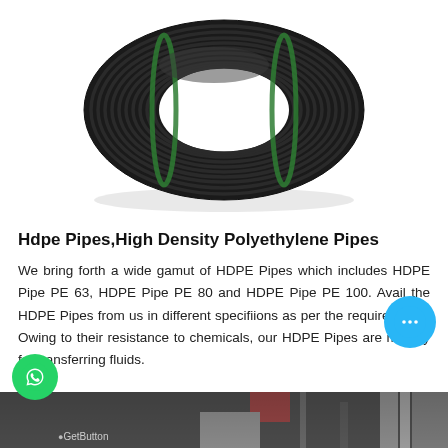[Figure (photo): A coil/roll of black HDPE pipe bound with green straps, photographed on white background]
Hdpe Pipes,High Density Polyethylene Pipes
We bring forth a wide gamut of HDPE Pipes which includes HDPE Pipe PE 63, HDPE Pipe PE 80 and HDPE Pipe PE 100. Avail the HDPE Pipes from us in different specifiions as per the requirements. Owing to their resistance to chemicals, our HDPE Pipes are majorly for transferring fluids.
[Figure (photo): Industrial pipe manufacturing facility interior, partially visible at bottom of page]
GetButton